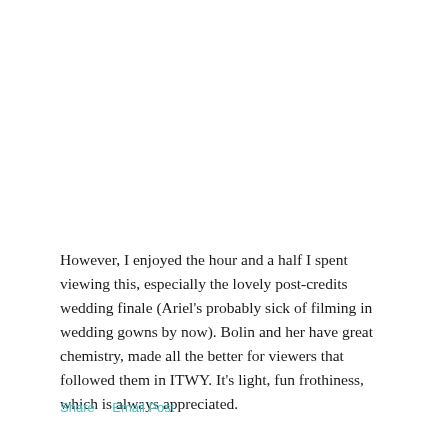However, I enjoyed the hour and a half I spent viewing this, especially the lovely post-credits wedding finale (Ariel's probably sick of filming in wedding gowns by now). Bolin and her have great chemistry, made all the better for viewers that followed them in ITWY. It's light, fun frothiness, which is always appreciated.
Share   Email Post